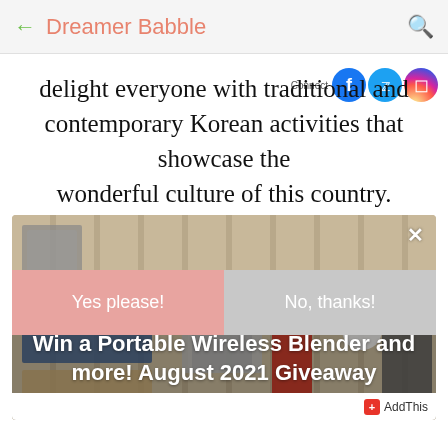← Dreamer Babble
delight everyone with traditional and contemporary Korean activities that showcase the wonderful culture of this country.
[Figure (screenshot): Popup modal overlay showing wooden slats background with product items, displaying giveaway promotion with Yes/No buttons]
Win a Portable Wireless Blender and more! August 2021 Giveaway
Yes please!
No, thanks!